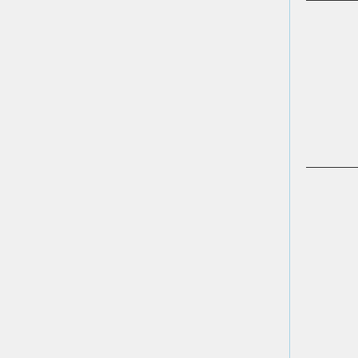| # | Agenda Item | Decisions/Issues/Status/Discussion |
| --- | --- | --- |
| 2 | Review Meeting Summaries
- Chair | Decisions/Issues:
Deferred

Action(s): |
|  |  | Status/Discussion:
• 55: Short Vendor Policy w/ subject discuss result o desire t Stryker ICU, an several devices balloon
• Man sum |